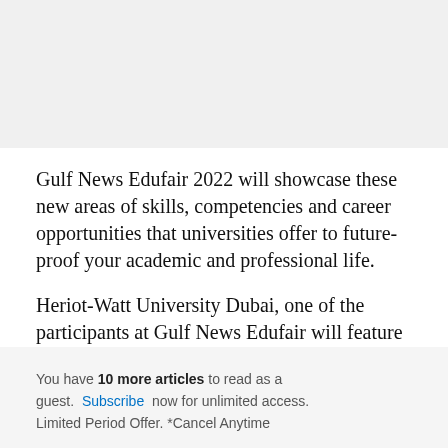Gulf News Edufair 2022 will showcase these new areas of skills, competencies and career opportunities that universities offer to future-proof your academic and professional life.
Heriot-Watt University Dubai, one of the participants at Gulf News Edufair will feature
You have 10 more articles to read as a guest. Subscribe now for unlimited access. Limited Period Offer. *Cancel Anytime
Already a subscriber? Sign in here.